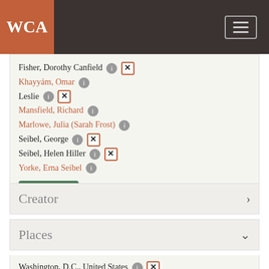WCA
Fisher, Dorothy Canfield [i] [x]
Khayyám, Omar [i]
Leslie [i] [x]
Mansfield, Richard [i]
Marlowe, Julia (Sarah Frost) [i]
Seibel, George [i] [x]
Seibel, Helen Hiller [i] [x]
Yorke, Erna Seibel [i]
See more
Creator
Places
Washington, D.C., United States [i] [x]